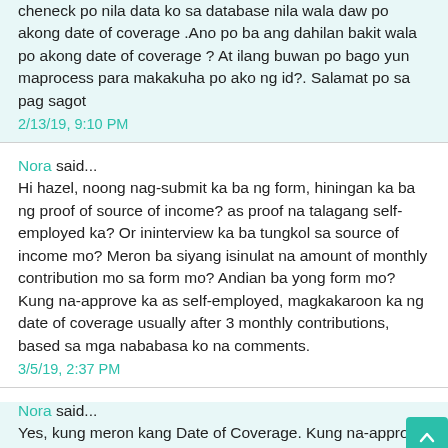cheneck po nila data ko sa database nila wala daw po akong date of coverage .Ano po ba ang dahilan bakit wala po akong date of coverage ? At ilang buwan po bago yun maprocess para makakuha po ako ng id?. Salamat po sa pag sagot
2/13/19, 9:10 PM
Nora said... Hi hazel, noong nag-submit ka ba ng form, hiningan ka ba ng proof of source of income? as proof na talagang self-employed ka? Or ininterview ka ba tungkol sa source of income mo? Meron ba siyang isinulat na amount of monthly contribution mo sa form mo? Andian ba yong form mo? Kung na-approve ka as self-employed, magkakaroon ka ng date of coverage usually after 3 monthly contributions, based sa mga nababasa ko na comments.
3/5/19, 2:37 PM
Nora said... Yes, kung meron kang Date of Coverage. Kung na-approve yong application mo as self-employed,